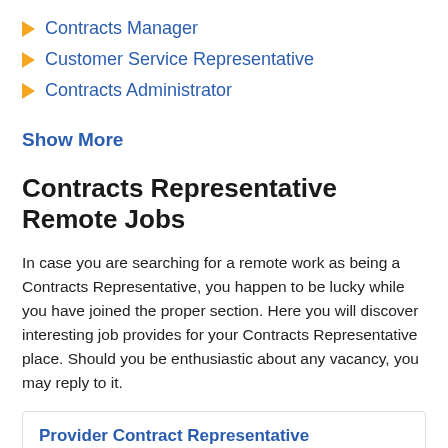Contracts Manager
Customer Service Representative
Contracts Administrator
Show More
Contracts Representative Remote Jobs
In case you are searching for a remote work as being a Contracts Representative, you happen to be lucky while you have joined the proper section. Here you will discover interesting job provides for your Contracts Representative place. Should you be enthusiastic about any vacancy, you may reply to it.
Provider Contract Representative